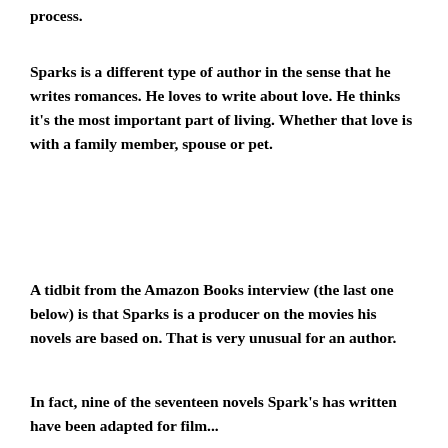process.
Sparks is a different type of author in the sense that he writes romances. He loves to write about love. He thinks it’s the most important part of living. Whether that love is with a family member, spouse or pet.
A tidbit from the Amazon Books interview (the last one below) is that Sparks is a producer on the movies his novels are based on. That is very unusual for an author.
In fact, nine of the seventeen novels Spark’s has written have been adapted for film...